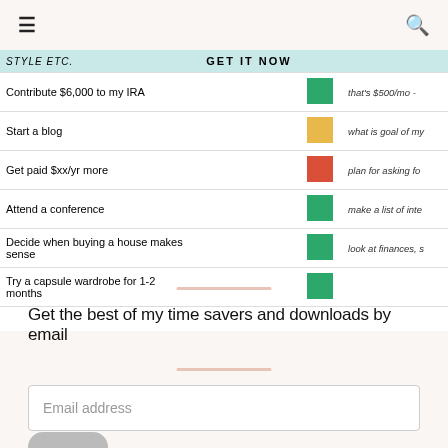≡  🔍
| style etc. | GET IT NOW |  |  |
| --- | --- | --- | --- |
| Contribute $6,000 to my IRA |  | ● | that's $500/mo - |
| Start a blog |  | ● | what is goal of my |
| Get paid $xx/yr more |  | ● | plan for asking fo |
| Attend a conference |  | ● | make a list of inte |
| Decide when buying a house makes sense |  | ● | look at finances, s |
| Try a capsule wardrobe for 1-2 months |  | ● |  |
Get the best of my time savers and downloads by email
Email address